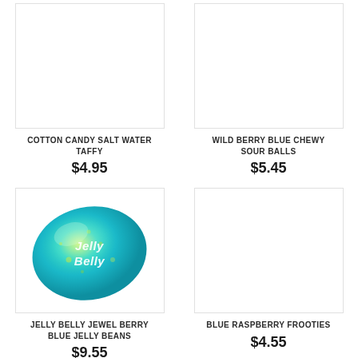[Figure (illustration): Product image placeholder for Cotton Candy Salt Water Taffy (top portion cropped, white box with light border)]
COTTON CANDY SALT WATER TAFFY
$4.95
[Figure (illustration): Product image placeholder for Wild Berry Blue Chewy Sour Balls (top portion cropped, white box with light border)]
WILD BERRY BLUE CHEWY SOUR BALLS
$5.45
[Figure (photo): Jelly Belly Jewel Berry Blue jelly bean — teal/turquoise with iridescent green-yellow shimmer, white cursive Jelly Belly logo on the bean]
JELLY BELLY JEWEL BERRY BLUE JELLY BEANS
$9.55
[Figure (illustration): Product image placeholder for Blue Raspberry Frooties (white box with light border)]
BLUE RASPBERRY FROOTIES
$4.55